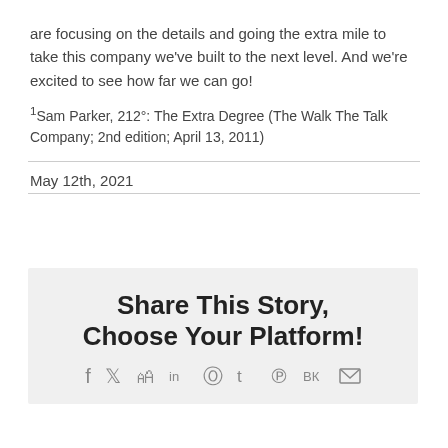are focusing on the details and going the extra mile to take this company we've built to the next level. And we're excited to see how far we can go!
¹Sam Parker, 212°: The Extra Degree (The Walk The Talk Company; 2nd edition; April 13, 2011)
May 12th, 2021
Share This Story, Choose Your Platform!
[Figure (infographic): Social media sharing icons: Facebook, Twitter, Reddit, LinkedIn, WhatsApp, Tumblr, Pinterest, VK, Email]